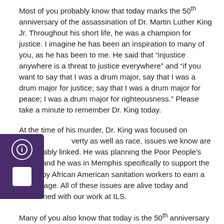Most of you probably know that today marks the 50th anniversary of the assassination of Dr. Martin Luther King Jr. Throughout his short life, he was a champion for justice. I imagine he has been an inspiration to many of you, as he has been to me. He said that “injustice anywhere is a threat to justice everywhere” and “if you want to say that I was a drum major, say that I was a drum major for justice; say that I was a drum major for peace; I was a drum major for righteousness.” Please take a minute to remember Dr. King today.
At the time of his murder, Dr. King was focused on poverty as well as race, issues we know are inextricably linked. He was planning the Poor People’s March and he was in Memphis specifically to support the efforts by African American sanitation workers to earn a living wage. All of these issues are alive today and intertwined with our work at ILS.
Many of you also know that today is the 50th anniversary of the...